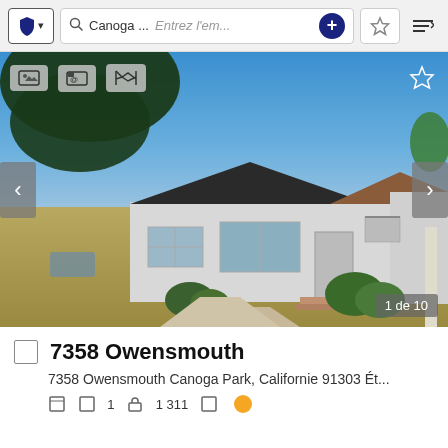[Figure (screenshot): Browser navigation bar with shield icon, search field showing 'Canoga ...' and placeholder 'Entrez l'em...', plus button, star/bookmark button, and sort button]
[Figure (photo): Exterior photo of a single-story house with dark roof, white stucco walls, green shrubs, blue sky, dry front lawn. Navigation arrows on sides. Photo counter '1 de 10' in bottom right corner. Overlay icons at top left (image, contact, map) and star at top right.]
7358 Owensmouth
7358 Owensmouth Canoga Park, Californie 91303 Ét...
Icons row with property details